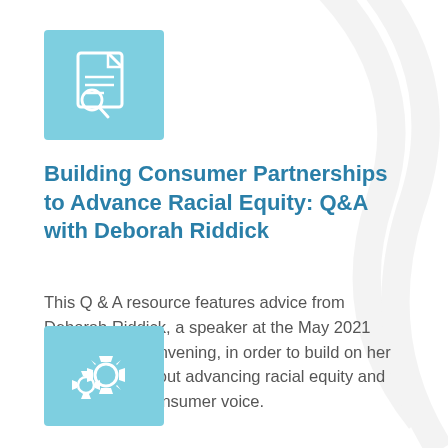[Figure (illustration): Light blue square icon box with a document/magnifying glass icon (white lines on light blue background)]
Building Consumer Partnerships to Advance Racial Equity: Q&A with Deborah Riddick
This Q & A resource features advice from Deborah Riddick, a speaker at the May 2021 Delta Center convening, in order to build on her presentation about advancing racial equity and incorporating consumer voice.
[Figure (illustration): Light blue square icon box with settings/gear icons (white gears on light blue background)]